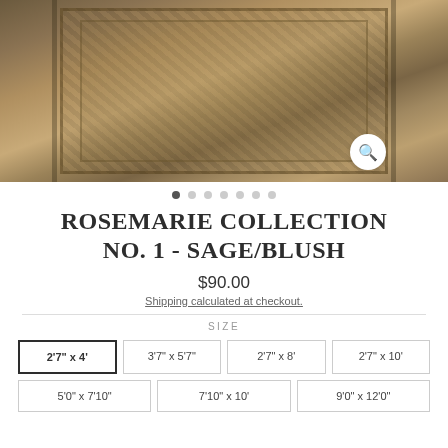[Figure (photo): A Persian/Oriental style area rug with sage and blush tones, showing an intricate floral and medallion pattern with a decorative border. A zoom/magnify icon is visible in the bottom right corner of the image.]
• (carousel dots, 7 total, first active)
ROSEMARIE COLLECTION NO. 1 - SAGE/BLUSH
$90.00
Shipping calculated at checkout.
SIZE
| 2'7" x 4' | 3'7" x 5'7" | 2'7" x 8' | 2'7" x 10' |
| 5'0" x 7'10" | 7'10" x 10' | 9'0" x 12'0" |  |